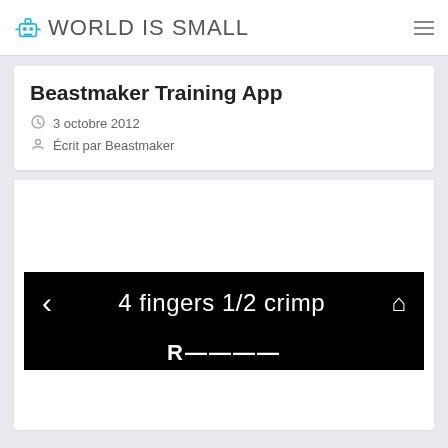WORLD IS SMALL
Beastmaker Training App
3 octobre 2012
Écrit par Beastmaker
[Figure (screenshot): App screenshot showing navigation bar with '4 fingers 1/2 crimp' title on black background, with left arrow and home icon, and partial text below]